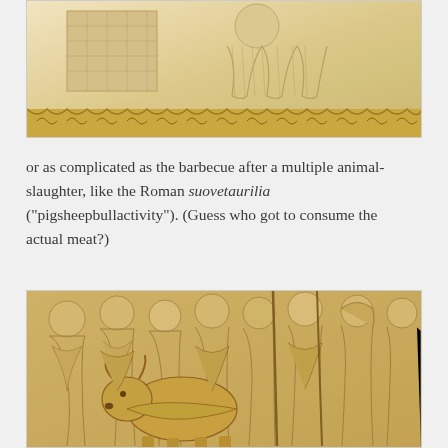[Figure (photo): Partial view of a Roman stone relief carving showing draped figures and an altar or chest, with ornate border decoration at bottom. Cream/ivory colored stone.]
or as complicated as the barbecue after a multiple animal-slaughter, like the Roman suovetaurilia ("pigsheepbullactivity"). (Guess who got to consume the actual meat?)
[Figure (photo): Roman stone relief (suovetaurilia scene) showing multiple robed figures standing in a group, with animals (including a bull or ox) in the foreground. Tan/golden stone carving.]